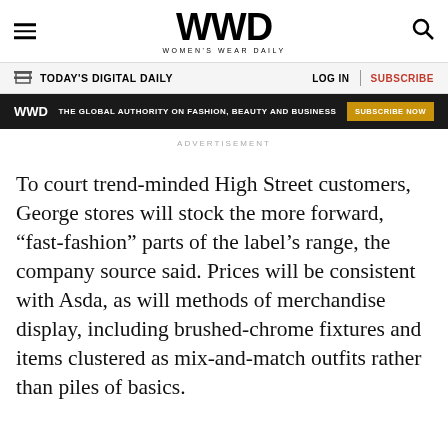WWD WOMEN'S WEAR DAILY
TODAY'S DIGITAL DAILY | LOG IN | SUBSCRIBE
WWD THE GLOBAL AUTHORITY ON FASHION, BEAUTY AND BUSINESS SUBSCRIBE NOW
ADVERTISEMENT
To court trend-minded High Street customers, George stores will stock the more forward, “fast-fashion” parts of the label’s range, the company source said. Prices will be consistent with Asda, as will methods of merchandise display, including brushed-chrome fixtures and items clustered as mix-and-match outfits rather than piles of basics.